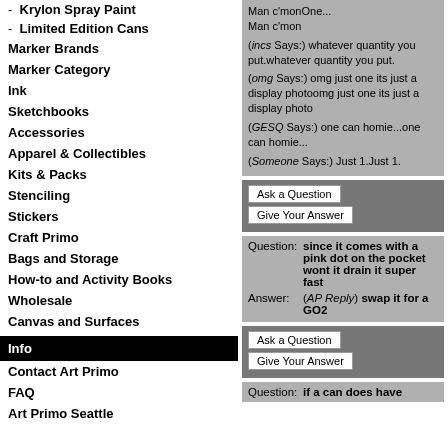- Krylon Spray Paint
- Limited Edition Cans
Marker Brands
Marker Category
Ink
Sketchbooks
Accessories
Apparel & Collectibles
Kits & Packs
Stenciling
Stickers
Craft Primo
Bags and Storage
How-to and Activity Books
Wholesale
Canvas and Surfaces
Info
Contact Art Primo
FAQ
Art Primo Seattle
Man c'monOne... Man c'mon
(incs Says:) whatever quantity you put.whatever quantity you put.
(omg Says:) omg just one its just a display photoomg just one its just a display photo
(GESQ Says:) one can homie...one can homie...
(Someone Says:) Just 1.Just 1.
Ask a Question
Give Your Answer
Question: since it comes with a pink dot on the pocket wont it drain it super fast
Answer: (AP Reply) swap it for a GO2
Ask a Question
Give Your Answer
Question: if a can does have